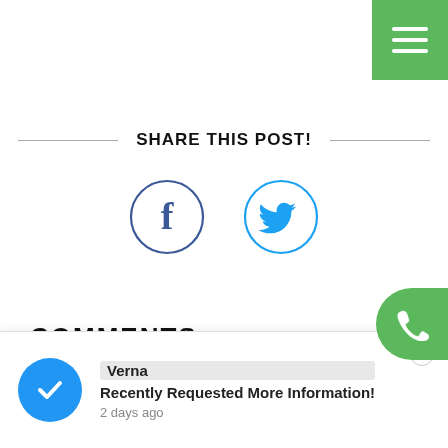[Figure (other): Green hamburger menu button top-right corner]
SHARE THIS POST!
[Figure (other): Facebook and Twitter social share icon circles]
COMMENTS
[Figure (other): Green phone button on right side]
Verna
Recently Requested More Information!
2 days ago